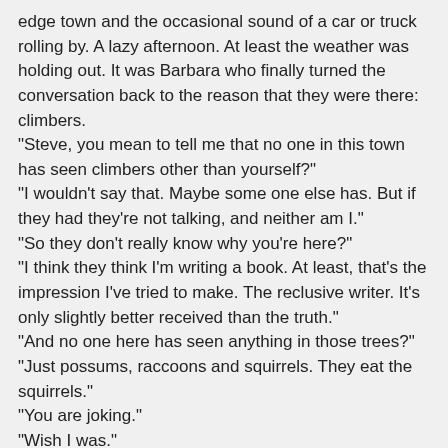edge town and the occasional sound of a car or truck rolling by. A lazy afternoon. At least the weather was holding out. It was Barbara who finally turned the conversation back to the reason that they were there: climbers.
"Steve, you mean to tell me that no one in this town has seen climbers other than yourself?"
"I wouldn't say that. Maybe some one else has. But if they had they're not talking, and neither am I."
"So they don't really know why you're here?"
"I think they think I'm writing a book. At least, that's the impression I've tried to make. The reclusive writer. It's only slightly better received than the truth."
"And no one here has seen anything in those trees?"
"Just possums, raccoons and squirrels. They eat the squirrels."
"You are joking."
"Wish I was."
"Taste like chicken?"
"Oh, yeah. If the chicken had been living on a diet of axle grease."
"Now the locals think you're writer, here working on your latest novel?"
"Something like that. Of course, not everybody believes it. Still, I guess it has worked out ok."